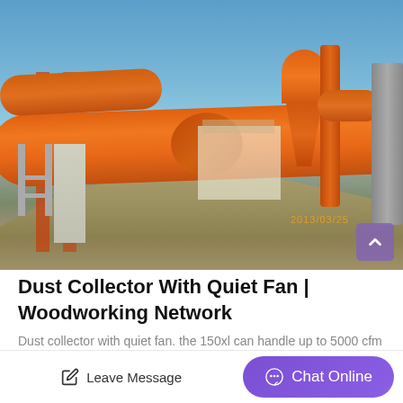[Figure (photo): Industrial rotary drum dryer or kiln in orange color with cyclone separator, scaffolding on the left, and a pile of earth/sand in the foreground. Blue sky in background. Timestamp '2013/03/25' visible in lower right of photo.]
Dust Collector With Quiet Fan | Woodworking Network
Dust collector with quiet fan. the 150xl can handle up to 5000 cfm